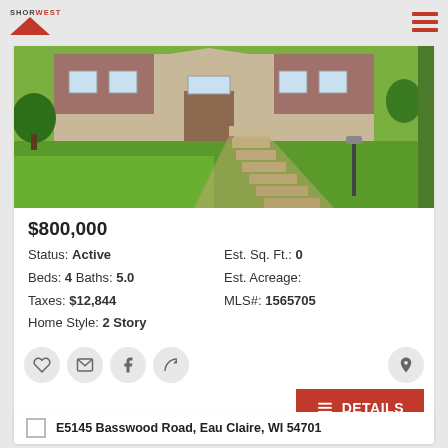Shorewest
[Figure (photo): Exterior photo of a single-family home with green lawn, stone walkway with steps leading to front entrance, brick facade, and large windows. Trees visible in background.]
$800,000
Status: Active   Est. Sq. Ft.: 0
Beds: 4 Baths: 5.0   Est. Acreage:
Taxes: $12,844   MLS#: 1565705
Home Style: 2 Story
E5145 Basswood Road, Eau Claire, WI 54701